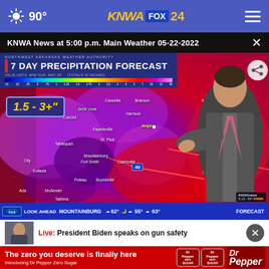90° KNWA FOX 24
KNWA News at 5:00 p.m. Main Weather 05-22-2022
[Figure (screenshot): 7 Day Precipitation Forecast weather map showing Northwest Arkansas region with a meteorologist presenting. Precipitation forecast of 1.5-3+ inches shown on a color-coded map. Bottom ticker shows Mountainburg 62°, 55°, 63° forecast.]
Live: President Biden speaks on gun safety
[Figure (other): Dr Pepper Zero Sugar advertisement - The zero you deserve is finally here. Introducing Dr Pepper Zero Sugar.]